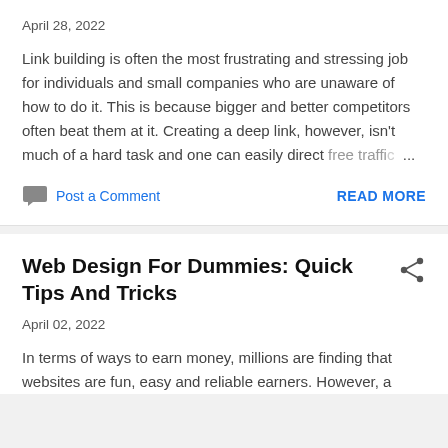April 28, 2022
Link building is often the most frustrating and stressing job for individuals and small companies who are unaware of how to do it. This is because bigger and better competitors often beat them at it. Creating a deep link, however, isn't much of a hard task and one can easily direct free traffic ...
Post a Comment
READ MORE
Web Design For Dummies: Quick Tips And Tricks
April 02, 2022
In terms of ways to earn money, millions are finding that websites are fun, easy and reliable earners. However, a